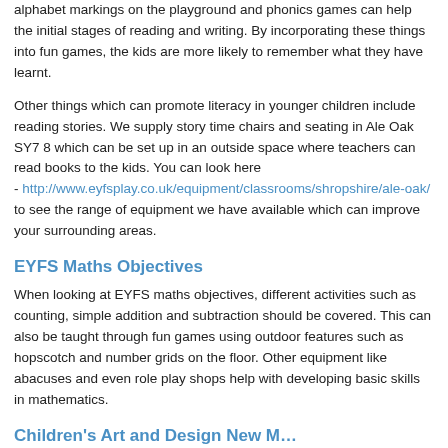alphabet markings on the playground and phonics games can help the initial stages of reading and writing. By incorporating these things into fun games, the kids are more likely to remember what they have learnt.
Other things which can promote literacy in younger children include reading stories. We supply story time chairs and seating in Ale Oak SY7 8 which can be set up in an outside space where teachers can read books to the kids. You can look here - http://www.eyfsplay.co.uk/equipment/classrooms/shropshire/ale-oak/ to see the range of equipment we have available which can improve your surrounding areas.
EYFS Maths Objectives
When looking at EYFS maths objectives, different activities such as counting, simple addition and subtraction should be covered. This can also be taught through fun games using outdoor features such as hopscotch and number grids on the floor. Other equipment like abacuses and even role play shops help with developing basic skills in mathematics.
Children's Art and Design New M…